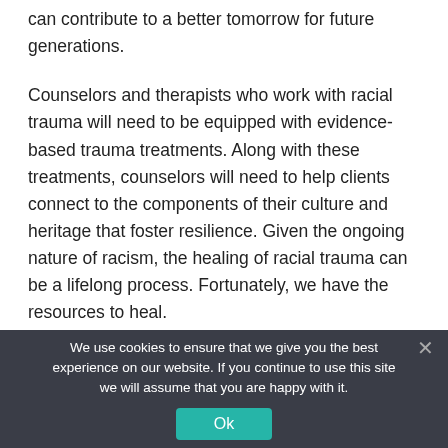can contribute to a better tomorrow for future generations.
Counselors and therapists who work with racial trauma will need to be equipped with evidence-based trauma treatments. Along with these treatments, counselors will need to help clients connect to the components of their culture and heritage that foster resilience. Given the ongoing nature of racism, the healing of racial trauma can be a lifelong process. Fortunately, we have the resources to heal.
We use cookies to ensure that we give you the best experience on our website. If you continue to use this site we will assume that you are happy with it.